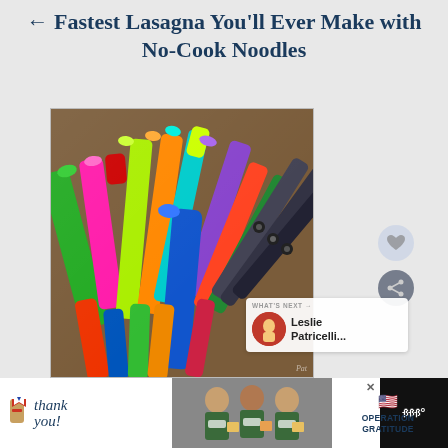← Fastest Lasagna You'll Ever Make with No-Cook Noodles
[Figure (photo): A bunch of colorful markers/pens packed tightly together in a container, viewed from above at an angle, showing caps of various bright colors including green, pink, red, orange, yellow, blue, purple]
WHAT'S NEXT → Leslie Patricelli...
[Figure (infographic): Advertisement banner: 'Thank you!' with American flag and pencil graphic, photo of masked healthcare workers, Operation Gratitude logo with American flag]